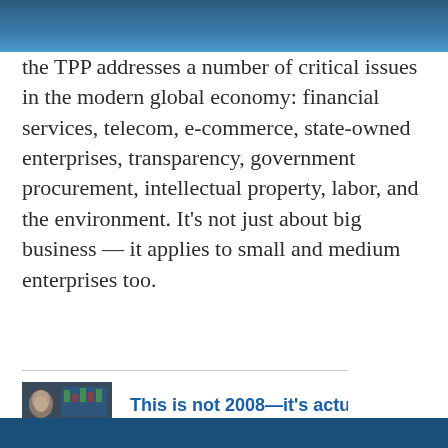the TPP addresses a number of critical issues in the modern global economy: financial services, telecom, e-commerce, state-owned enterprises, transparency, government procurement, intellectual property, labor, and the environment. It's not just about big business — it applies to small and medium enterprises too.
[Figure (photo): Thumbnail photo of a person with blurred background showing financial/market display screens]
This is not 2008—it's actually worse